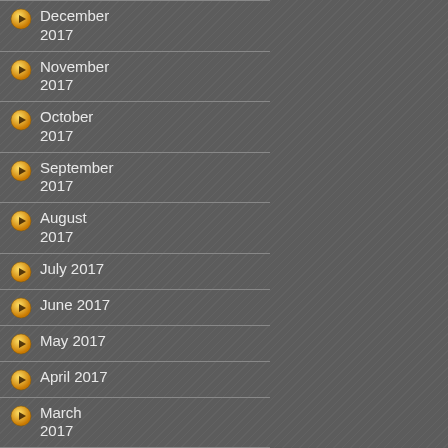December 2017
November 2017
October 2017
September 2017
August 2017
July 2017
June 2017
May 2017
April 2017
March 2017
February 2017
January 2017
December 2016
November 2016
October